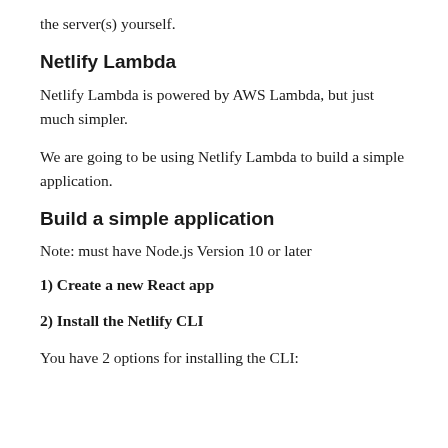the server(s) yourself.
Netlify Lambda
Netlify Lambda is powered by AWS Lambda, but just much simpler.
We are going to be using Netlify Lambda to build a simple application.
Build a simple application
Note: must have Node.js Version 10 or later
1) Create a new React app
2) Install the Netlify CLI
You have 2 options for installing the CLI: